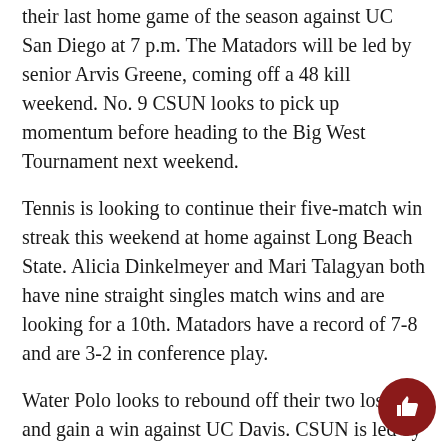their last home game of the season against UC San Diego at 7 p.m. The Matadors will be led by senior Arvis Greene, coming off a 48 kill weekend. No. 9 CSUN looks to pick up momentum before heading to the Big West Tournament next weekend.
Tennis is looking to continue their five-match win streak this weekend at home against Long Beach State. Alicia Dinkelmeyer and Mari Talagyan both have nine straight singles match wins and are looking for a 10th. Matadors have a record of 7-8 and are 3-2 in conference play.
Water Polo looks to rebound off their two losses and gain a win against UC Davis. CSUN is led by senior attacker Maddie Sanchez who is looking for one more goal to tie the program record. The regular season finale gets going in the pool at 12 p.m.